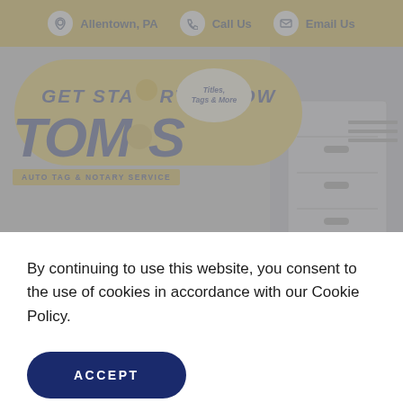Allentown, PA   Call Us   Email Us
[Figure (logo): Tom's Auto Tag & Notary Service logo with 'GET STARTED NOW' text on yellow pill background and 'Titles, Tags & More' badge]
By continuing to use this website, you consent to the use of cookies in accordance with our Cookie Policy.
ACCEPT